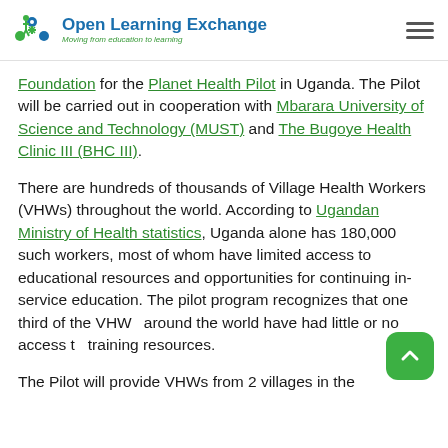Open Learning Exchange — Moving from education to learning
Foundation for the Planet Health Pilot in Uganda. The Pilot will be carried out in cooperation with Mbarara University of Science and Technology (MUST) and The Bugoye Health Clinic III (BHC III).
There are hundreds of thousands of Village Health Workers (VHWs) throughout the world. According to Ugandan Ministry of Health statistics, Uganda alone has 180,000 such workers, most of whom have limited access to educational resources and opportunities for continuing in-service education. The pilot program recognizes that one third of the VHWs around the world have had little or no access to training resources.
The Pilot will provide VHWs from 2 villages in the